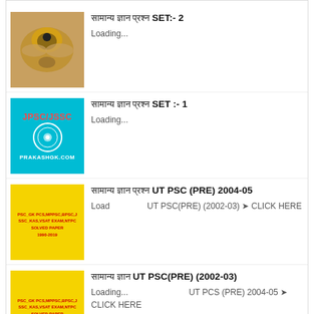सामान्य ज्ञान प्रश्न SET:- 2
Loading...
सामान्य ज्ञान प्रश्न SET :- 1
Loading...
सामान्य ज्ञान प्रश्न UT PSC (PRE) 2004-05
Load UT PSC(PRE) (2002-03) ➤ CLICK HERE
सामान्य ज्ञान UT PSC(PRE) ( 2002-03)
Loading... UT PSC (PRE) 2004-05 ➤ CLICK HERE
NO COMMENTS:
Enter Comment